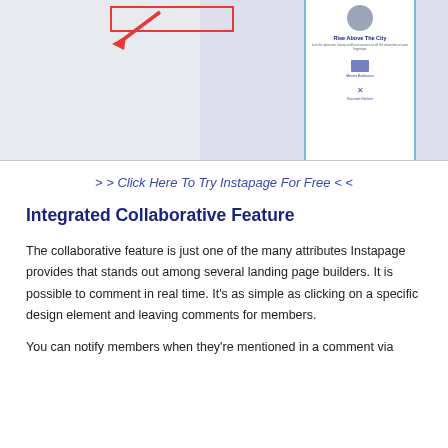[Figure (screenshot): Screenshot of an Instapage landing page builder interface showing a mobile app preview with 'Rise Above The City' heading, a circular avatar, icons for Master Bedrooms and Gourmet Kitchen, with a red arrow and red rectangle highlight pointing to a UI element.]
> > Click Here To Try Instapage For Free < <
Integrated Collaborative Feature
The collaborative feature is just one of the many attributes Instapage provides that stands out among several landing page builders. It is possible to comment in real time. It’s as simple as clicking on a specific design element and leaving comments for members.
You can notify members when they’re mentioned in a comment via